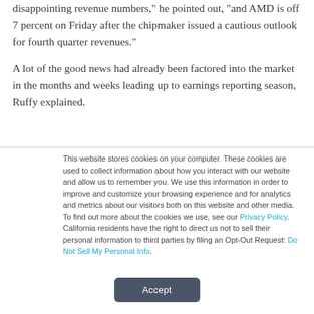disappointing revenue numbers," he pointed out, "and AMD is off 7 percent on Friday after the chipmaker issued a cautious outlook for fourth quarter revenues."
A lot of the good news had already been factored into the market in the months and weeks leading up to earnings reporting season, Ruffy explained.
This website stores cookies on your computer. These cookies are used to collect information about how you interact with our website and allow us to remember you. We use this information in order to improve and customize your browsing experience and for analytics and metrics about our visitors both on this website and other media. To find out more about the cookies we use, see our Privacy Policy. California residents have the right to direct us not to sell their personal information to third parties by filing an Opt-Out Request: Do Not Sell My Personal Info.